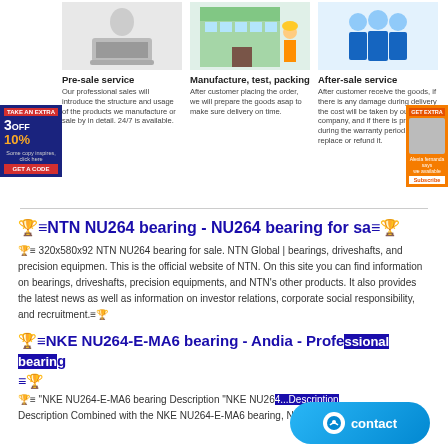[Figure (illustration): Three service columns with illustrations: person at laptop (Pre-sale service), warehouse with worker (Manufacture, test, packing), group of workers in blue uniforms (After-sale service)]
Pre-sale service
Our professional sales will introduce the structure and usage of the products we manufacture or sale by in detail. 24/7 is available.
Manufacture, test, packing
After customer placing the order, we will prepare the goods asap to make sure delivery on time.
After-sale service
After customer receive the goods, if there is any damage during delivery the cost will be taken by our company, and if there is problem during the warranty period, we will replace or refund it.
🏆≡NTN NU264 bearing - NU264 bearing for sa≡🏆
🏆≡ 320x580x92 NTN NU264 bearing for sale. NTN Global | bearings, driveshafts, and precision equipmen. This is the official website of NTN. On this site you can find information on bearings, driveshafts, precision equipments, and NTN's other products. It also provides the latest news as well as information on investor relations, corporate social responsibility, and recruitment.≡🏆
🏆≡NKE NU264-E-MA6 bearing - Andia - Professional bearing ≡🏆
🏆≡ "NKE NU264-E-MA6 bearing Description "NKE NU264...Description Combined with the NKE NU264-E-MA6 bearing, NKE NU264-E